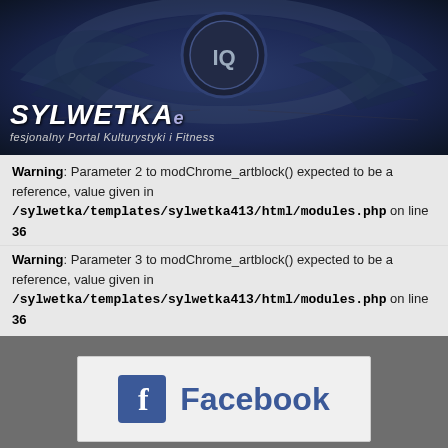[Figure (photo): Website header banner for Sylwetka fitness portal with dark blue/black background, tribal decorative elements, logo with 'IQ' symbol, text 'SYLWETKA' and subtitle 'Profesjonalny Portal Kulturystyki i Fitness']
Warning: Parameter 2 to modChrome_artblock() expected to be a reference, value given in /sylwetka/templates/sylwetka413/html/modules.php on line 36
Warning: Parameter 3 to modChrome_artblock() expected to be a reference, value given in /sylwetka/templates/sylwetka413/html/modules.php on line 36
[Figure (logo): Facebook logo button with blue 'f' icon and 'Facebook' text in blue on light grey background]
Warning: Parameter 2 to modChrome_artblock() expected to be a reference, value given in /sylwetka/templates/sylwetka413/html/modules.php on line 36
Warning: Parameter 3 to modChrome_artblock() expected to be a reference, value given in /sylwetka/templates/sylwetka413/html/modules.php on line 36
Główne menu
Strona główna
Ostatnie wieści
Galeria
Sklep Sylwetka
Forum